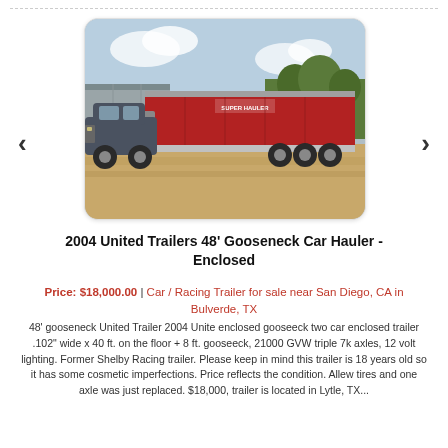[Figure (photo): A large red enclosed gooseneck car hauler trailer being towed by a dark grey pickup truck, parked on dry grass with trees and a metal building in the background.]
2004 United Trailers 48' Gooseneck Car Hauler - Enclosed
Price: $18,000.00 | Car / Racing Trailer for sale near San Diego, CA in Bulverde, TX
48' gooseneck United Trailer 2004 Unite enclosed gooseeck two car enclosed trailer .102" wide x 40 ft. on the floor + 8 ft. gooseeck, 21000 GVW triple 7k axles, 12 volt lighting. Former Shelby Racing trailer. Please keep in mind this trailer is 18 years old so it has some cosmetic imperfections. Price reflects the condition. Allew tires and one axle was just replaced. $18,000, trailer is located in Lytle, TX...